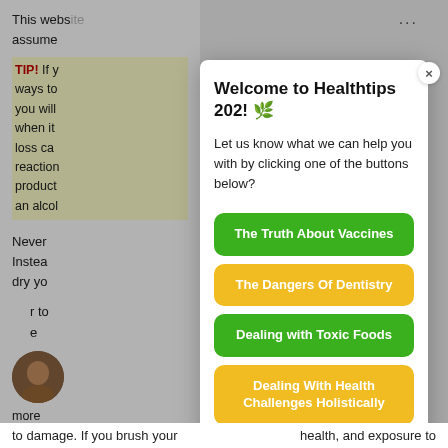This website … assume
TIP! If y… ways to… you will… when it… loss ca… reaction… product… an alcol
Never … Instea… dry yo… r to … e
Welcome to Healthtips 202! 🌿
Let us know what we can help you with by clicking one of the buttons below?
The Truth About Vaccines
The Dangers Of Dentistry
Dealing with Toxic Foods
Dealing With Health Challenges Holistically
Healthtips202 Webinar Replays
health, and exposure to
to damage. If you brush your